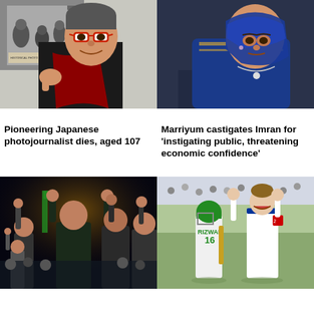[Figure (photo): Elderly Japanese woman smiling, wearing red glasses and dark scarf, with black-and-white photographs in background]
[Figure (photo): Pakistani woman politician in blue hijab speaking, seated in front of a dark background]
Pioneering Japanese photojournalist dies, aged 107
Marriyum castigates Imran for 'instigating public, threatening economic confidence'
[Figure (photo): Political rally at night with several men raising their hands, crowd in background]
[Figure (photo): Cricket match scene with Pakistan player Rizwan number 16 and England fielder celebrating]